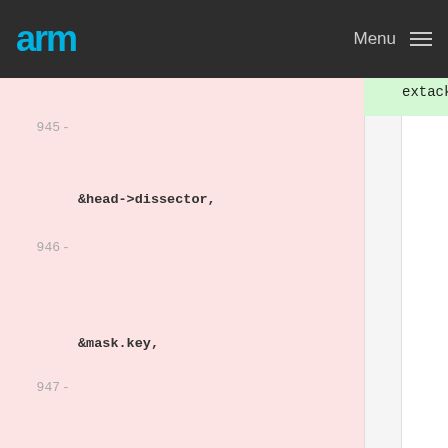arm  Menu
[Figure (screenshot): Code diff view showing ARM developer documentation website. Lines 945-947 of a diff are shown. Line 945 removed code contains '&head->dissector,' on a pink background. Line 946 removed code contains '&mask.key,' on a pink background. Line 947 removed code contains 'fnew,' on a pink background. The right (added) column at top shows 'extack);' on a green background, rest is white/empty.]